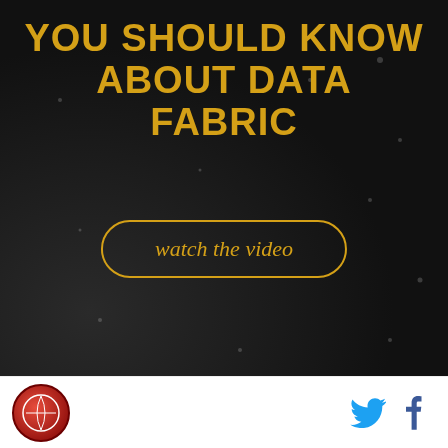[Figure (screenshot): Dark advertisement banner with gold text reading 'YOU SHOULD KNOW ABOUT DATA FABRIC' and a 'watch the video' button with gold oval border]
POWERED BY CONCERT   FEEDBACK
Tactically, a false nine changes the dynamic with regards to the opposition center backs shown above.
[Figure (illustration): Top portion of a soccer/football tactical diagram showing a green pitch with white lines and dark player circles at the bottom]
[Figure (logo): Round red site logo on the left, Twitter bird icon and Facebook f icon on the right]